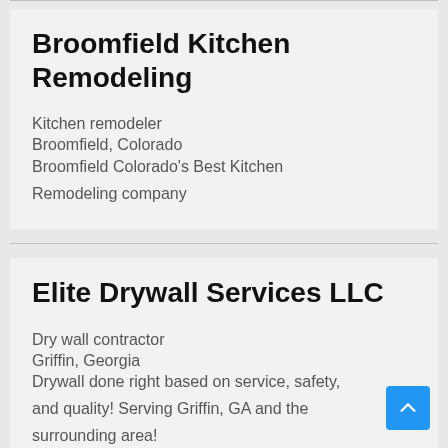Broomfield Kitchen Remodeling
Kitchen remodeler
Broomfield, Colorado
Broomfield Colorado's Best Kitchen Remodeling company
Elite Drywall Services LLC
Dry wall contractor
Griffin, Georgia
Drywall done right based on service, safety, and quality! Serving Griffin, GA and the surrounding area!